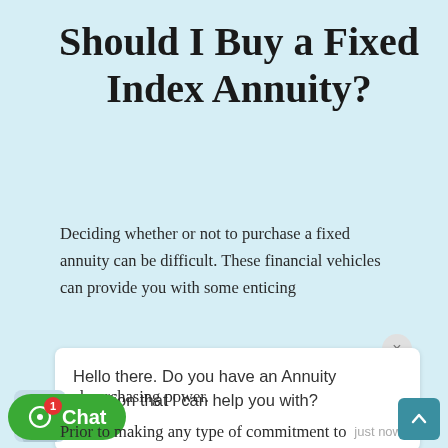Should I Buy a Fixed Index Annuity?
Deciding whether or not to purchase a fixed annuity can be difficult. These financial vehicles can provide you with some enticing
[Figure (screenshot): Chat popup with message: 'Hello there. Do you have an Annuity question that I can help you with?' from agent 'Gator', timestamped 'just now', with a close (×) button and an avatar icon.]
and purchasing power.
[Figure (screenshot): Green chat button with alien/dot icon and notification badge showing '1', and teal scroll-to-top button on bottom right.]
Prior to making any type of commitment to